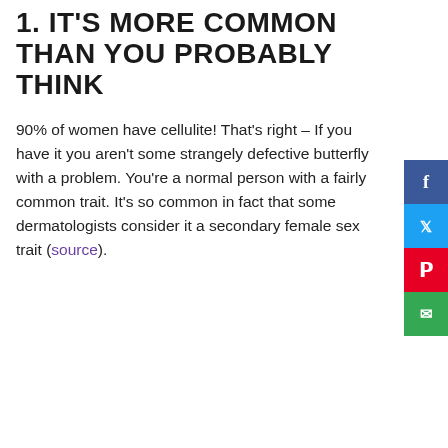1. IT'S MORE COMMON THAN YOU PROBABLY THINK
90% of women have cellulite! That's right – If you have it you aren't some strangely defective butterfly with a problem. You're a normal person with a fairly common trait. It's so common in fact that some dermatologists consider it a secondary female sex trait (source).